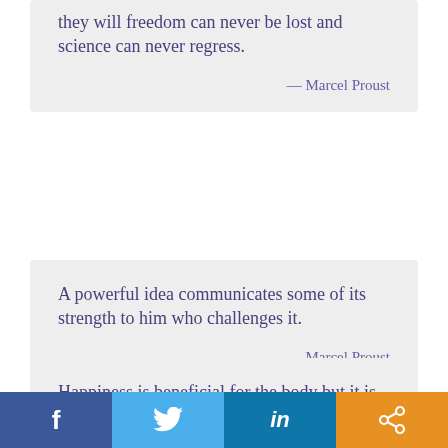they will freedom can never be lost and science can never regress.
— Marcel Proust
A powerful idea communicates some of its strength to him who challenges it.
— Marcel Proust
Happiness is beneficial for the body but it is grief that develops the powers of the mind.
f  [Twitter bird]  in  [share icon]